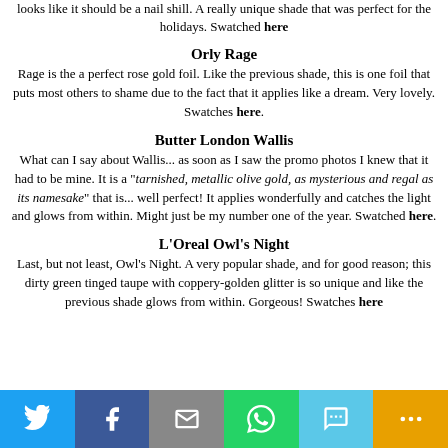looks like it should be a nail shill. A really unique shade that was perfect for the holidays. Swatched here
Orly Rage
Rage is the a perfect rose gold foil. Like the previous shade, this is one foil that puts most others to shame due to the fact that it applies like a dream. Very lovely. Swatches here.
Butter London Wallis
What can I say about Wallis... as soon as I saw the promo photos I knew that it had to be mine. It is a "tarnished, metallic olive gold, as mysterious and regal as its namesake" that is... well perfect! It applies wonderfully and catches the light and glows from within. Might just be my number one of the year. Swatched here.
L'Oreal Owl's Night
Last, but not least, Owl's Night. A very popular shade, and for good reason; this dirty green tinged taupe with coppery-golden glitter is so unique and like the previous shade glows from within. Gorgeous! Swatches here